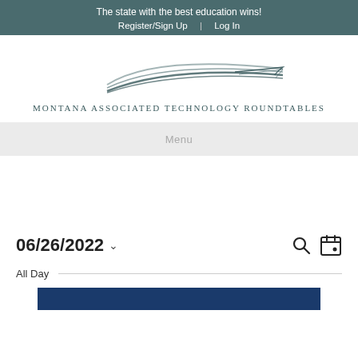The state with the best education wins!
Register/Sign Up | Log In
[Figure (logo): Montana Associated Technology Roundtables logo with swoosh lines]
Montana Associated Technology Roundtables
Menu
06/26/2022 ∨
All Day